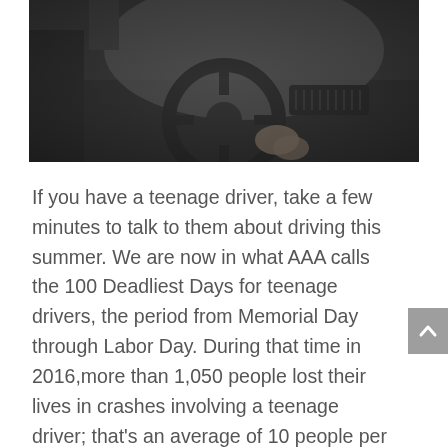[Figure (photo): Dark interior of a car showing the steering wheel and dashboard, with a person's hand gripping the steering wheel, taken from a low angle inside the vehicle.]
If you have a teenage driver, take a few minutes to talk to them about driving this summer. We are now in what AAA calls the 100 Deadliest Days for teenage drivers, the period from Memorial Day through Labor Day. During that time in 2016,more than 1,050 people lost their lives in crashes involving a teenage driver; that's an average of 10 people per day.